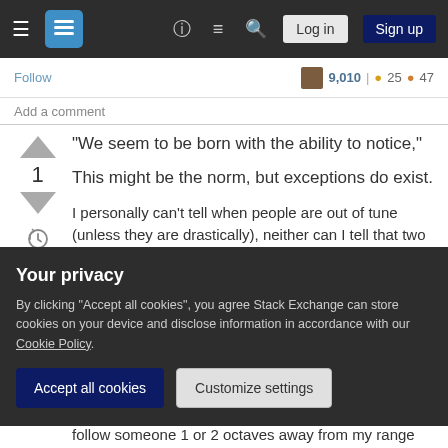Stack Exchange navigation bar with hamburger menu, logo, help, chat, search, Log in, Sign up buttons
Follow
9,010 | 25 47
Add a comment
"We seem to be born with the ability to notice,"
1
This might be the norm, but exceptions do exist.
I personally can't tell when people are out of tune (unless they are drastically), neither can I tell that two notes are one octave apart, they just sound like different notes. Additionally, when a key change happens mid song (typically for the last verse) I
Your privacy
By clicking "Accept all cookies", you agree Stack Exchange can store cookies on your device and disclose information in accordance with our Cookie Policy.
Accept all cookies
Customize settings
follow someone 1 or 2 octaves away from my range